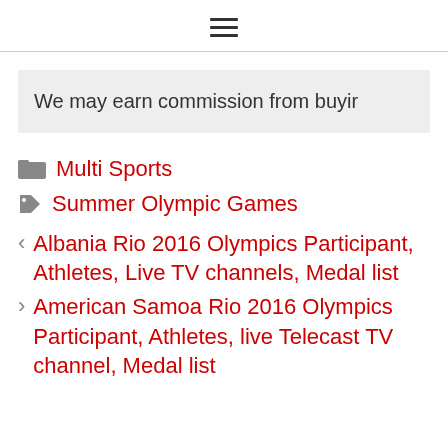≡ (hamburger menu icon)
We may earn commission from buyir
Multi Sports
Summer Olympic Games
< Albania Rio 2016 Olympics Participant, Athletes, Live TV channels, Medal list
> American Samoa Rio 2016 Olympics Participant, Athletes, live Telecast TV channel, Medal list